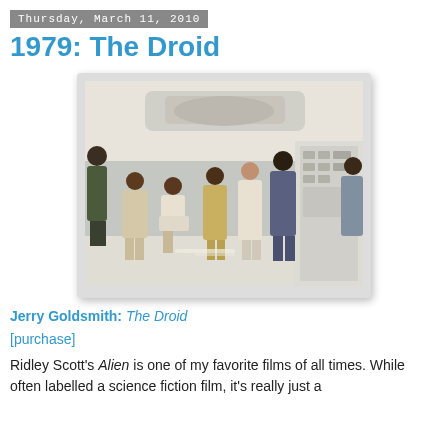Thursday, March 11, 2010
1979: The Droid
[Figure (photo): A group of people standing in what appears to be a spaceship interior set, likely a still from the 1979 film Alien directed by Ridley Scott.]
Jerry Goldsmith: The Droid
[purchase]
Ridley Scott's Alien is one of my favorite films of all times. While often labelled a science fiction film, it's really just a